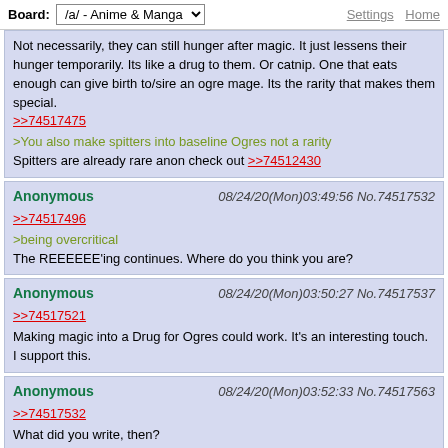Board: /a/ - Anime & Manga | Settings | Home
Not necessarily, they can still hunger after magic. It just lessens their hunger temporarily. Its like a drug to them. Or catnip. One that eats enough can give birth to/sire an ogre mage. Its the rarity that makes them special.
>>74517475
>You also make spitters into baseline Ogres not a rarity
Spitters are already rare anon check out >>74512430
Anonymous 08/24/20(Mon)03:49:56 No.74517532
>>74517496
>being overcritical
The REEEEEE'ing continues. Where do you think you are?
Anonymous 08/24/20(Mon)03:50:27 No.74517537
>>74517521
Making magic into a Drug for Ogres could work. It's an interesting touch. I support this.
Anonymous 08/24/20(Mon)03:52:33 No.74517563
>>74517532
What did you write, then?

In a thread about worldbuilding which is very kitchen sink and half of the nation's started out as shitpost.